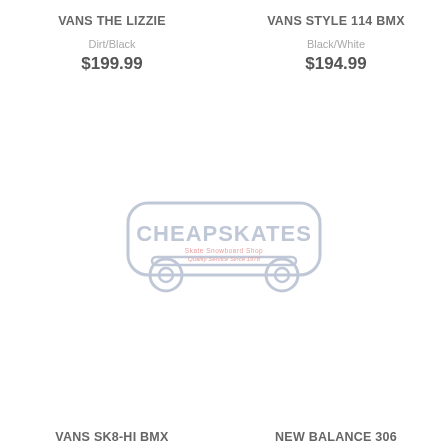VANS THE LIZZIE
Dirt/Black
$199.99
VANS STYLE 114 BMX
Black/White
$194.99
[Figure (logo): Cheapskates Skate Snowboard Shop logo - skateboard truck/wheels design with text 'CHEAPSKATES Skate Snowboard Shop Quality Service Since 1978']
VANS SK8-HI BMX
NEW BALANCE 306